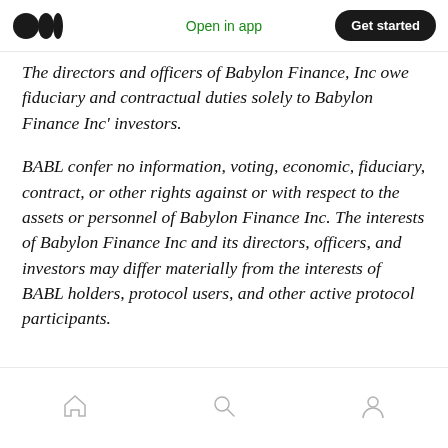Open in app | Get started
The directors and officers of Babylon Finance, Inc owe fiduciary and contractual duties solely to Babylon Finance Inc' investors.
BABL confer no information, voting, economic, fiduciary, contract, or other rights against or with respect to the assets or personnel of Babylon Finance Inc. The interests of Babylon Finance Inc and its directors, officers, and investors may differ materially from the interests of BABL holders, protocol users, and other active protocol participants.
Home | Search | Profile